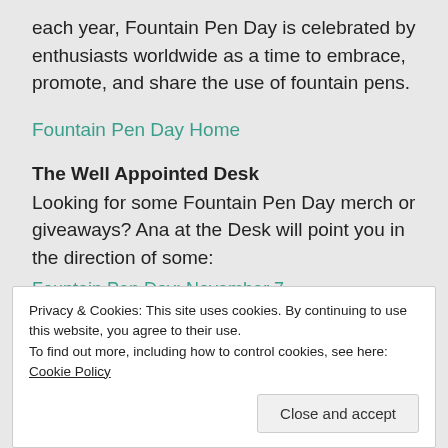each year, Fountain Pen Day is celebrated by enthusiasts worldwide as a time to embrace, promote, and share the use of fountain pens.
Fountain Pen Day Home
The Well Appointed Desk
Looking for some Fountain Pen Day merch or giveaways? Ana at the Desk will point you in the direction of some:
Fountain Pen Day: November 7
Privacy & Cookies: This site uses cookies. By continuing to use this website, you agree to their use.
To find out more, including how to control cookies, see here: Cookie Policy
Close and accept